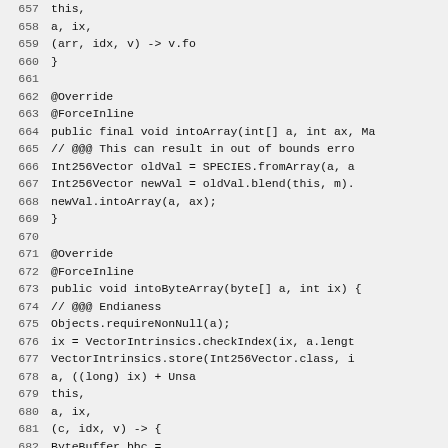Source code listing lines 657-686, Java code for Int256Vector class methods intoArray and intoByteArray